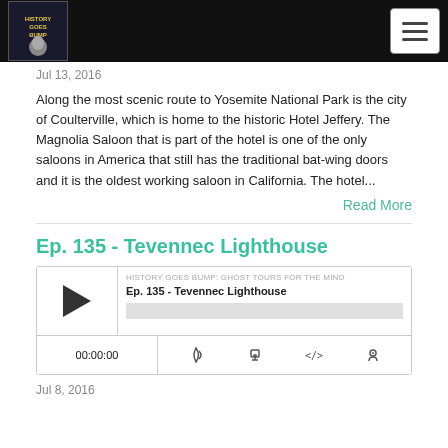History Goes Bump logo and navigation menu
Jul 13, 2016
Along the most scenic route to Yosemite National Park is the city of Coulterville, which is home to the historic Hotel Jeffery. The Magnolia Saloon that is part of the hotel is one of the only saloons in America that still has the traditional bat-wing doors and it is the oldest working saloon in California. The hotel...
Read More
Ep. 135 - Tevennec Lighthouse
[Figure (screenshot): Podcast audio player widget for 'Ep. 135 - Tevennec Lighthouse' by History Goes Bump: Ghost Tours for the Mind. Shows play button, episode info, progress bar, timecode 00:00:00, and control icons for subscribe, download, embed, and notifications.]
Jul 8, 2016